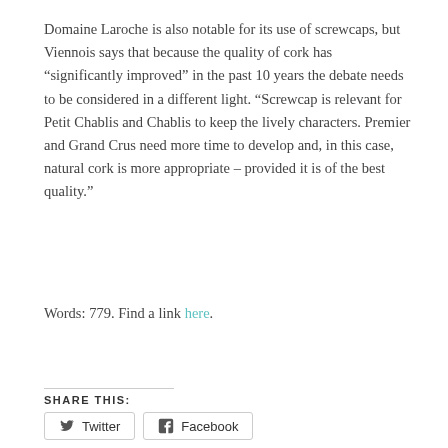Domaine Laroche is also notable for its use of screwcaps, but Viennois says that because the quality of cork has “significantly improved” in the past 10 years the debate needs to be considered in a different light. “Screwcap is relevant for Petit Chablis and Chablis to keep the lively characters. Premier and Grand Crus need more time to develop and, in this case, natural cork is more appropriate – provided it is of the best quality.”
Words: 779. Find a link here.
SHARE THIS:
Twitter  Facebook
Like  One blogger likes this.